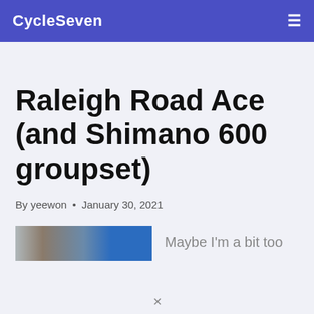CycleSeven
Raleigh Road Ace (and Shimano 600 groupset)
By yeewon • January 30, 2021
[Figure (photo): Partial blurred photo of a bicycle component with blue color]
Maybe I'm a bit too